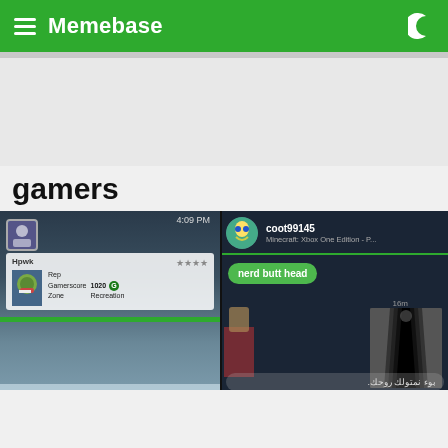Memebase
gamers
[Figure (screenshot): Two side-by-side gaming screenshots. Left: Xbox messaging interface showing user 'Hpwk' with Rep, Gamerscore 1020, Zone Recreation, and message 'i would say your aim is cancer but cancer actually kills people'. Right: Xbox One chat with user coot99145 playing Minecraft Xbox One Edition, green bubble saying 'nerd butt head', a dark corridor image, and Arabic text bubble.]